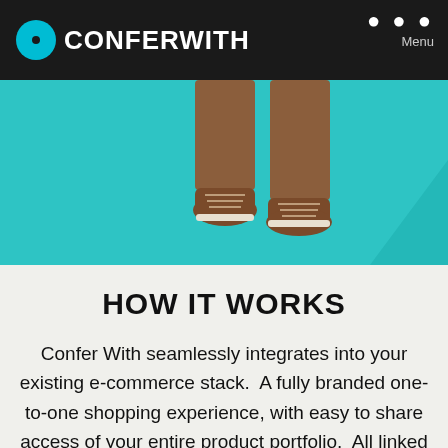CONFERWITH — Menu
[Figure (photo): Cropped photo of a person's lower legs and feet wearing brown lace-up shoes and brown trousers, walking on a teal/turquoise blue background with a diagonal shadow.]
HOW IT WORKS
Confer With seamlessly integrates into your existing e-commerce stack.  A fully branded one-to-one shopping experience, with easy to share access of your entire product portfolio.  All linked to a shared basket and check-out on